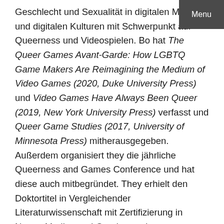Geschlecht und Sexualität in digitalen Medien und digitalen Kulturen mit Schwerpunkt auf Queerness und Videospielen. Bo hat The Queer Games Avant-Garde: How LGBTQ Game Makers Are Reimagining the Medium of Video Games (2020, Duke University Press) und Video Games Have Always Been Queer (2019, New York University Press) verfasst und Queer Game Studies (2017, University of Minnesota Press) mitherausgegeben. Außerdem organisiert they die jährliche Queerness and Games Conference und hat diese auch mitbegründet. They erhielt den Doktortitel in Vergleichender Literaturwissenschaft mit Zertifizierung in Neuen Medien und Gender- und Sexualitätsstudien an der University of California, Berkeley und war als Provost's Postdoctoral Fellow* in der Abteilung Interaktive Medien und Spiele an der University of
Menu